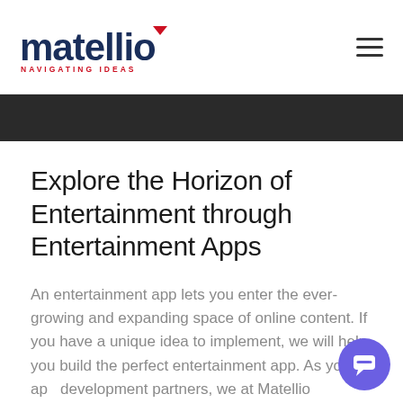matellio NAVIGATING IDEAS
[Figure (photo): Dark image strip at top of page content area]
Explore the Horizon of Entertainment through Entertainment Apps
An entertainment app lets you enter the ever-growing and expanding space of online content. If you have a unique idea to implement, we will help you build the perfect entertainment app. As your app development partners, we at Matellio